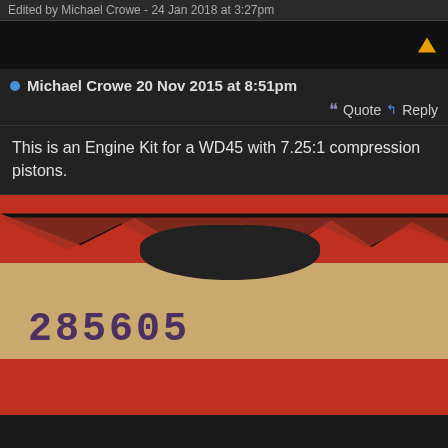Edited by Michael Crowe - 24 Jan 2018 at 3:27pm
Michael Crowe 20 Nov 2015 at 8:51pm
Quote  Reply
This is an Engine Kit for a WD45 with 7.25:1 compression pistons.
[Figure (photo): Torn red and tan packaging with the number 285605 stamped on it]